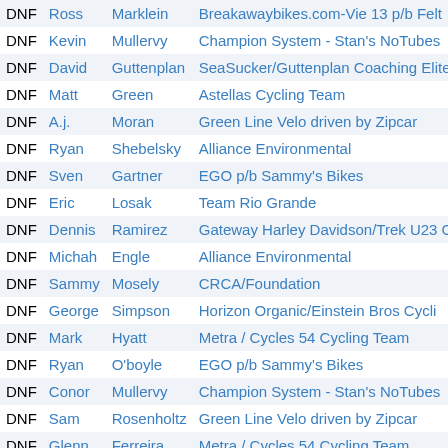| Status | First Name | Last Name | Team |
| --- | --- | --- | --- |
| DNF | Ross | Marklein | Breakawaybikes.com-Vie 13 p/b Felt |
| DNF | Kevin | Mullervy | Champion System - Stan's NoTubes |
| DNF | David | Guttenplan | SeaSucker/Guttenplan Coaching Elite |
| DNF | Matt | Green | Astellas Cycling Team |
| DNF | A.j. | Moran | Green Line Velo driven by Zipcar |
| DNF | Ryan | Shebelsky | Alliance Environmental |
| DNF | Sven | Gartner | EGO p/b Sammy's Bikes |
| DNF | Eric | Losak | Team Rio Grande |
| DNF | Dennis | Ramirez | Gateway Harley Davidson/Trek U23 C |
| DNF | Michah | Engle | Alliance Environmental |
| DNF | Sammy | Mosely | CRCA/Foundation |
| DNF | George | Simpson | Horizon Organic/Einstein Bros Cycli |
| DNF | Mark | Hyatt | Metra / Cycles 54 Cycling Team |
| DNF | Ryan | O'boyle | EGO p/b Sammy's Bikes |
| DNF | Conor | Mullervy | Champion System - Stan's NoTubes |
| DNF | Sam | Rosenholtz | Green Line Velo driven by Zipcar |
| DNF | Glenn | Ferreira | Metra / Cycles 54 Cycling Team |